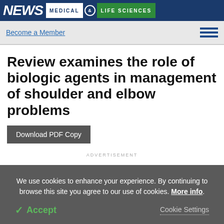NEWS MEDICAL & LIFE SCIENCES
Become a Member
Review examines the role of biologic agents in management of shoulder and elbow problems
Download PDF Copy
ADVERTISEMENT
We use cookies to enhance your experience. By continuing to browse this site you agree to our use of cookies. More info.
✓ Accept
Cookie Settings